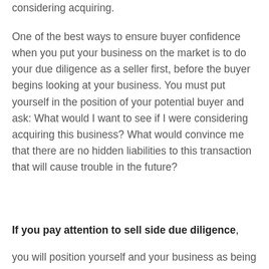considering acquiring.
One of the best ways to ensure buyer confidence when you put your business on the market is to do your due diligence as a seller first, before the buyer begins looking at your business. You must put yourself in the position of your potential buyer and ask: What would I want to see if I were considering acquiring this business? What would convince me that there are no hidden liabilities to this transaction that will cause trouble in the future?
If you pay attention to sell side due diligence,
you will position yourself and your business as being